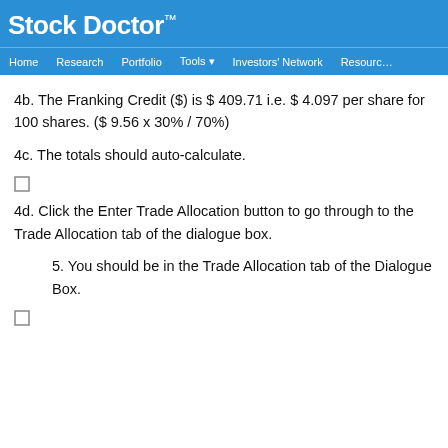Stock Doctor™
Home   Research   Portfolio   Tools ▾   Investors' Network   Resources
4b. The Franking Credit ($) is $ 409.71 i.e. $ 4.097 per share for 100 shares. ($ 9.56 x 30% / 70%)
4c. The totals should auto-calculate.
[Figure (other): Checkbox (unchecked)]
4d. Click the Enter Trade Allocation button to go through to the Trade Allocation tab of the dialogue box.
5. You should be in the Trade Allocation tab of the Dialogue Box.
[Figure (other): Checkbox (unchecked)]